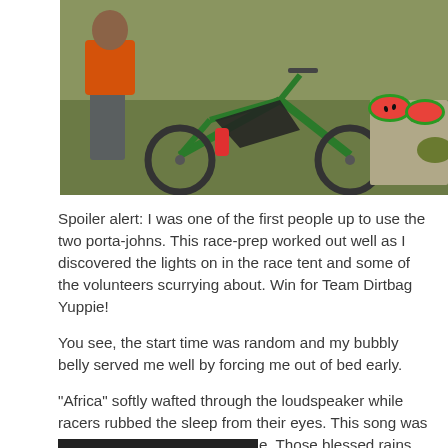[Figure (photo): Outdoor scene showing a green mountain bike with a black frame bag, a red water bottle, and a person in an orange shirt and grey shorts standing beside it. On the right side, a table with watermelon halves and a green helmet.]
Spoiler alert: I was one of the first people up to use the two porta-johns. This race-prep worked out well as I discovered the lights on in the race tent and some of the volunteers scurrying about. Win for Team Dirtbag Yuppie!
You see, the start time was random and my bubbly belly served me well by forcing me out of bed early.
“Africa” softly wafted through the loudspeaker while racers rubbed the sleep from their eyes. This song was the harbinger of things to come. Those blessed rains would come soon enough.